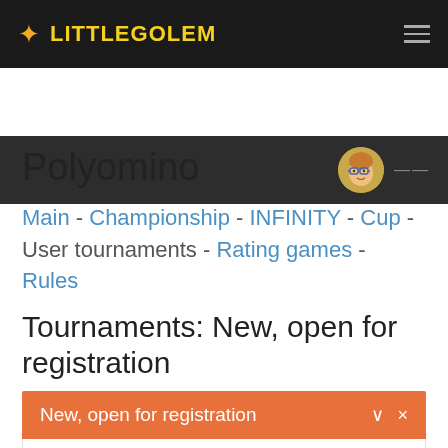LITTLEGOLEM
Polyomino
Main - Championship - INFINITY - Cup - User tournaments - Rating games - Rules
Tournaments: New, open for registration
| Tournament | Variant | Registered players |
| --- | --- | --- |